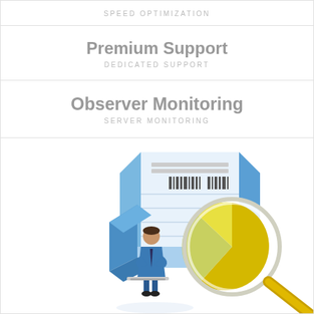SPEED OPTIMIZATION
Premium Support
DEDICATED SUPPORT
Observer Monitoring
SERVER MONITORING
[Figure (illustration): Isometric illustration of a server tower with a large magnifying glass showing a pie chart, and a businessman figure in a blue suit with arms crossed, representing server monitoring concept.]